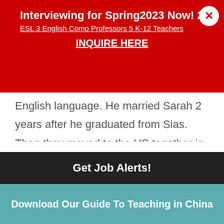Interviewing for Spring2023 Now! 20 ESL 3 English Comp Professors 5 K-12 Teachers INQUIRE HERE
English language. He married Sarah 2 years after he graduated from Sias. Then they moved to the US together in 2015 for employment. In the summer of 2018, he moved back to Sias with his family of four. With his unique first-hand experience with Chinese and American cultures over the past 10 years, he is great at communicating with
Get Job Alerts!
Download Our Guide To Teaching in China